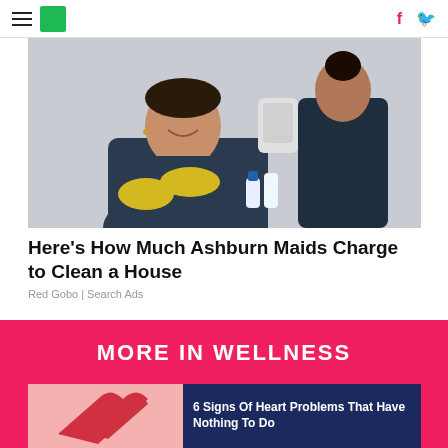HuffPost navigation with hamburger menu, logo, Facebook and Twitter icons
[Figure (photo): Two cleaning workers in navy scrubs; the foreground person smiles with arms crossed wearing yellow rubber gloves; another person works in the background.]
Here's How Much Ashburn Maids Charge to Clean a House
Red Gobo | Search Ads
MORE IN WELLNESS
[Figure (photo): Pink/red background with a red heart shape partially visible on the left side.]
6 Signs Of Heart Problems That Have Nothing To Do